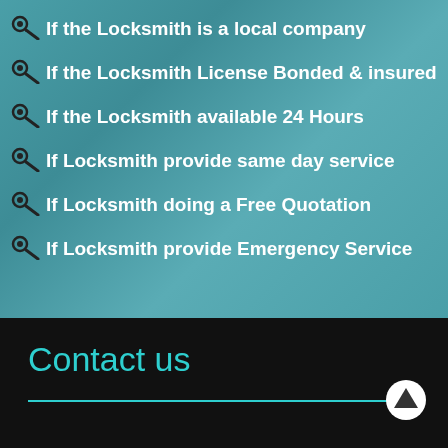If the Locksmith is a local company
If the Locksmith License Bonded & insured
If the Locksmith available 24 Hours
If Locksmith provide same day service
If Locksmith doing a Free Quotation
If Locksmith provide Emergency Service
Contact us